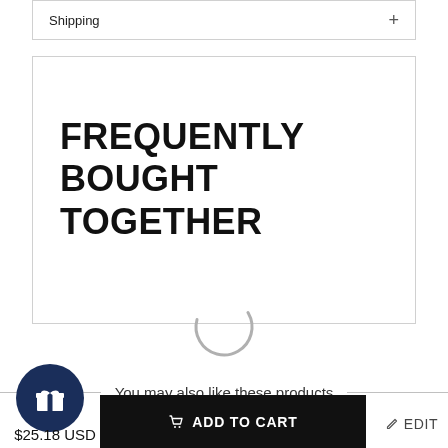Shipping +
FREQUENTLY BOUGHT TOGETHER
[Figure (other): Loading spinner (partial circle arc in gray)]
You may also like these products
[Figure (other): Dark blue circle with white gift/present icon]
$25.18 USD
ADD TO CART
EDIT